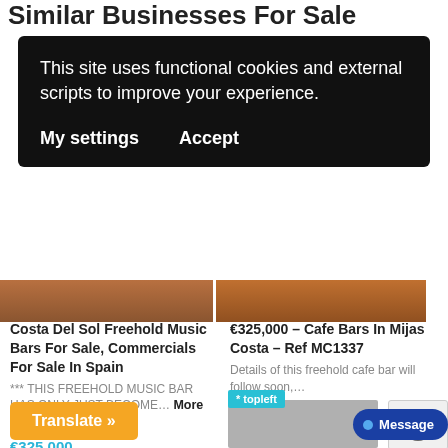Similar Businesses For Sale
This site uses functional cookies and external scripts to improve your experience.
My settings
Accept
Costa Del Sol Freehold Music Bars For Sale, Commercials For Sale In Spain
*** THIS FREEHOLD MUSIC BAR HAS ONLY JUST BECOME… More Details ▶
€325,000
€325,000 – Cafe Bars In Mijas Costa – Ref MC1337
Details of this freehold cafe bar will follow soon,…
More Details ▶
€325,000
* topleft
Translate »
Message